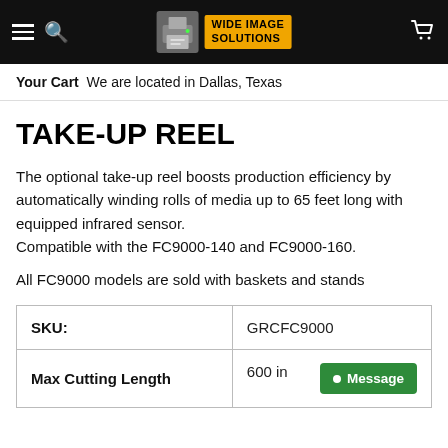Wide Image Solutions — Your Cart  We are located in Dallas, Texas
TAKE-UP REEL
The optional take-up reel boosts production efficiency by automatically winding rolls of media up to 65 feet long with equipped infrared sensor. Compatible with the FC9000-140 and FC9000-160.
All FC9000 models are sold with baskets and stands
|  |  |
| --- | --- |
| SKU: | GRCFC9000 |
| Max Cutting Length | 600 in |